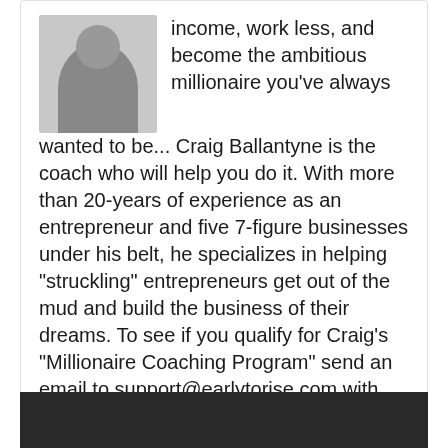[Figure (photo): Photo of Craig Ballantyne, a man in a dark suit with white shirt, positioned in the upper left of the text block]
income, work less, and become the ambitious millionaire you've always wanted to be... Craig Ballantyne is the coach who will help you do it. With more than 20-years of experience as an entrepreneur and five 7-figure businesses under his belt, he specializes in helping "struckling" entrepreneurs get out of the mud and build the business of their dreams. To see if you qualify for Craig's "Millionaire Coaching Program" send an email to support@earlytorise.com with the subject line "Millionaire".